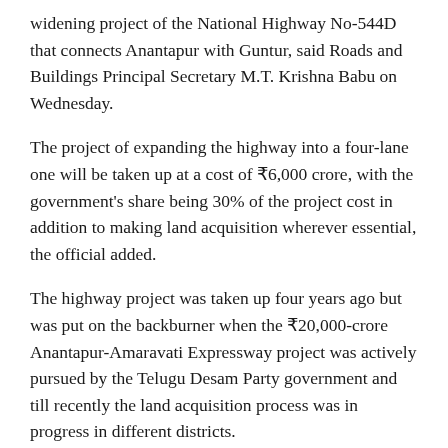widening project of the National Highway No-544D that connects Anantapur with Guntur, said Roads and Buildings Principal Secretary M.T. Krishna Babu on Wednesday.
The project of expanding the highway into a four-lane one will be taken up at a cost of ₹6,000 crore, with the government's share being 30% of the project cost in addition to making land acquisition wherever essential, the official added.
The highway project was taken up four years ago but was put on the backburner when the ₹20,000-crore Anantapur-Amaravati Expressway project was actively pursued by the Telugu Desam Party government and till recently the land acquisition process was in progress in different districts.
Mr. Krishna Babu, who was in Anantapur to hold talks